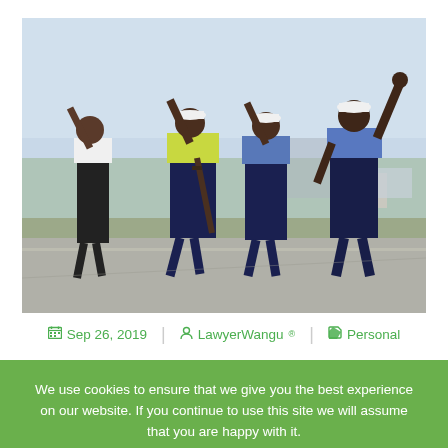[Figure (photo): Four police officers seen from behind on a road, raising their hands, one wearing a yellow POLICE vest with a rifle, others in blue uniforms and white caps]
Sep 26, 2019  |  LawyerWangu®  |  Personal
We use cookies to ensure that we give you the best experience on our website. If you continue to use this site we will assume that you are happy with it.
Ok   Cookie Policy   X